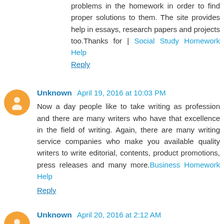problems in the homework in order to find proper solutions to them. The site provides help in essays, research papers and projects too.Thanks for | Social Study Homework Help
Reply
Unknown April 19, 2016 at 10:03 PM
Now a day people like to take writing as profession and there are many writers who have that excellence in the field of writing. Again, there are many writing service companies who make you available quality writers to write editorial, contents, product promotions, press releases and many more.Business Homework Help
Reply
Unknown April 20, 2016 at 2:12 AM
We specialist in research paper writing, essay writing and case study. We provide you with top notch service in a myriad of academic subjects such as History, English, Finance, Math, Economics and Accountancy. We offer